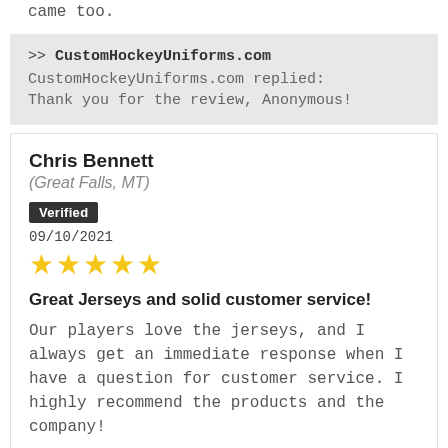came too.
>> CustomHockeyUniforms.com
CustomHockeyUniforms.com replied:
Thank you for the review, Anonymous!
Chris Bennett
(Great Falls, MT)
Verified
09/10/2021
[Figure (other): Five yellow star rating icons]
Great Jerseys and solid customer service!
Our players love the jerseys, and I always get an immediate response when I have a question for customer service. I highly recommend the products and the company!
>> CustomHockeyUniforms.com